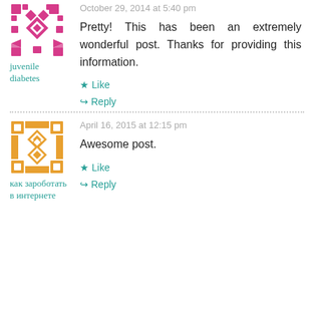October 29, 2014 at 5:40 pm
Pretty! This has been an extremely wonderful post. Thanks for providing this information.
juvenile diabetes
Like
Reply
April 16, 2015 at 12:15 pm
Awesome post.
как зароботать в интернете
Like
Reply